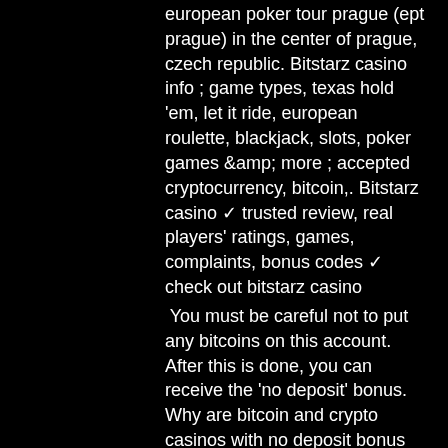european poker tour prague (ept prague) in the center of prague, czech republic. Bitstarz casino info ; game types, texas hold 'em, let it ride, european roulette, blackjack, slots, poker games &amp; more ; accepted cryptocurrency, bitcoin,. Bitstarz casino ✓ trusted review, real players' ratings, games, complaints, bonus codes ✓ check out bitstarz casino
You must be careful not to put any bitcoins on this account. After this is done, you can receive the 'no deposit' bonus. Why are bitcoin and crypto casinos with no deposit bonus popular, .
Epic jackpot bitcoin slots, live bitcoin casino vivaro
Ensuring that a particular operator is licensed by a credible gaming commission is critical because it ensures that the casino upholds certain regulatory standards. Along